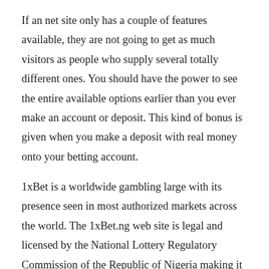If an net site only has a couple of features available, they are not going to get as much visitors as people who supply several totally different ones. You should have the power to see the entire available options earlier than you ever make an account or deposit. This kind of bonus is given when you make a deposit with real money onto your betting account.
1xBet is a worldwide gambling large with its presence seen in most authorized markets across the world. The 1xBet.ng web site is legal and licensed by the National Lottery Regulatory Commission of the Republic of Nigeria making it safe and authorized for Nigerian gamers. But, Nairabet does not all the time have a signup bonus for brand new clients, but they can nonetheless offer nice value with the third highest betting odds in our exams. Betting markets in Nigeria and other African